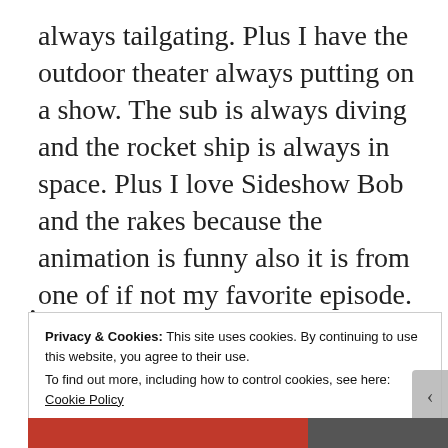always tailgating. Plus I have the outdoor theater always putting on a show. The sub is always diving and the rocket ship is always in space. Plus I love Sideshow Bob and the rakes because the animation is funny also it is from one of if not my favorite episode. That's pretty much my ritual except I
Privacy & Cookies: This site uses cookies. By continuing to use this website, you agree to their use.
To find out more, including how to control cookies, see here: Cookie Policy
Close and accept